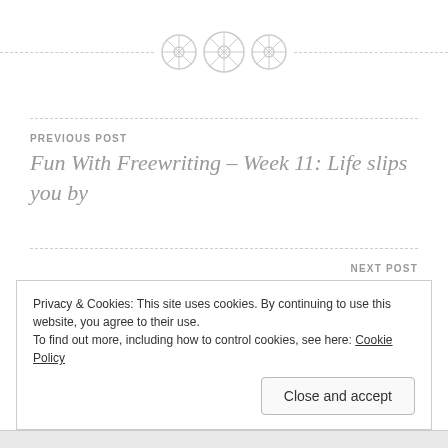[Figure (illustration): Decorative divider with three circular button-like icons and dashed lines on either side]
PREVIOUS POST
Fun With Freewriting – Week 11: Life slips you by
NEXT POST
Fun With Freewriting – Week 12: Biding Time
Privacy & Cookies: This site uses cookies. By continuing to use this website, you agree to their use.
To find out more, including how to control cookies, see here: Cookie Policy
Close and accept